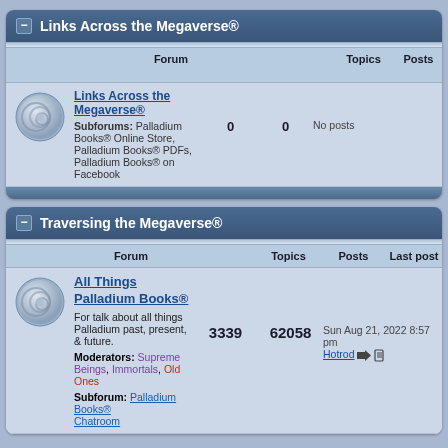Links Across the Megaverse®
| Forum | Topics | Posts | Last post |
| --- | --- | --- | --- |
| Links Across the Megaverse® | Subforums: Palladium Books® Online Store, Palladium Books® PDFs, Palladium Books® on Facebook | 0 | 0 | No posts |
Traversing the Megaverse®
| Forum | Topics | Posts | Last post |
| --- | --- | --- | --- |
| All Things Palladium Books® | For talk about all things Palladium past, present, & future. Moderators: Supreme Beings, Immortals, Old Ones | Subforum: Palladium Books® Chatroom | 3339 | 62058 | Sun Aug 21, 2022 8:57 pm Hotrod |